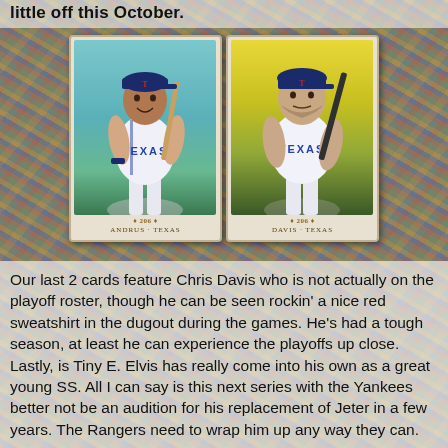little off this October.
[Figure (photo): Two baseball cards side by side. Left card shows Andrus, Texas Rangers player holding a bat, teal background, from T206 set. Right card shows Davis, Texas Rangers player holding a bat, yellow/green sunset background, from T206 set. Both wear white Texas Rangers jerseys.]
Our last 2 cards feature Chris Davis who is not actually on the playoff roster, though he can be seen rockin' a nice red sweatshirt in the dugout during the games. He's had a tough season, at least he can experience the playoffs up close. Lastly, is Tiny E. Elvis has really come into his own as a great young SS. All I can say is this next series with the Yankees better not be an audition for his replacement of Jeter in a few years. The Rangers need to wrap him up any way they can.